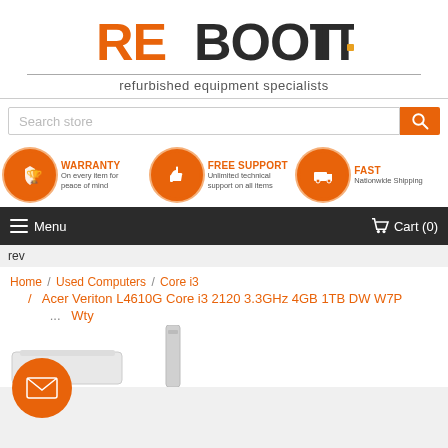[Figure (logo): Reboot IT logo with orange RE and black BOOT IT text, tagline: refurbished equipment specialists]
Search store
[Figure (infographic): Three features: WARRANTY - On every item for peace of mind; FREE SUPPORT - Unlimited technical support on all items; FAST - Nationwide Shipping]
Menu    Cart (0)
rev
Home / Used Computers / Core i3 / Acer Veriton L4610G Core i3 2120 3.3GHz 4GB 1TB DW W7P ... Wty
[Figure (photo): Product images of Acer Veriton desktop and tower units at bottom of page]